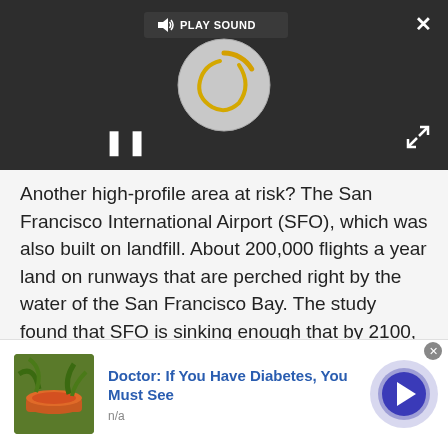[Figure (screenshot): Video player UI with dark background, 'PLAY SOUND' button with speaker icon, a circular loading spinner in gray with yellow arc, pause button (II), close button (X), and expand button in corners]
Another high-profile area at risk? The San Francisco International Airport (SFO), which was also built on landfill. About 200,000 flights a year land on runways that are perched right by the water of the San Francisco Bay. The study found that SFO is sinking enough that by 2100, half of the runways and taxiways will be underwater.
[Figure (screenshot): Advertisement banner: thumbnail of a bowl of orange soup/drink with green plants, blue link text 'Doctor: If You Have Diabetes, You Must See', source 'n/a', close X button, and blue circular arrow button on right]